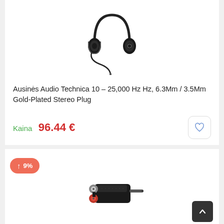[Figure (photo): Black over-ear headphones (Audio Technica) with cable and 3.5mm jack plug]
Ausinės Audio Technica 10 – 25,000 Hz Hz, 6.3Mm / 3.5Mm Gold-Plated Stereo Plug
Kaina 96.44 €
↑ 9%
[Figure (photo): Black RCA to 3.5mm stereo audio adapter with red RCA connector]